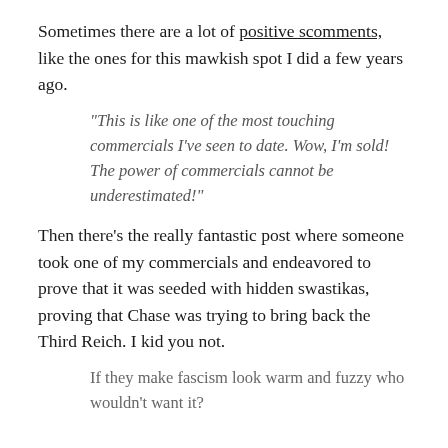Sometimes there are a lot of positive scomments, like the ones for this mawkish spot I did a few years ago.
“This is like one of the most touching commercials I’ve seen to date. Wow, I’m sold! The power of commercials cannot be underestimated!”
Then there’s the really fantastic post where someone took one of my commercials and endeavored to prove that it was seeded with hidden swastikas, proving that Chase was trying to bring back the Third Reich. I kid you not.
If they make fascism look warm and fuzzy who wouldn’t want it?